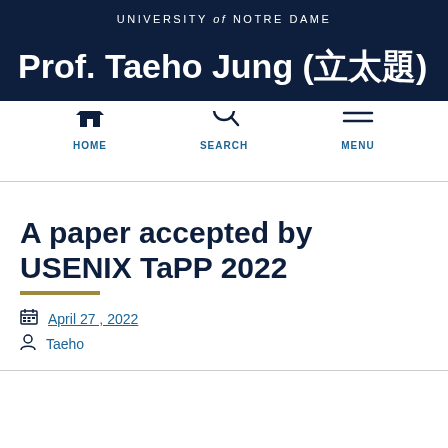UNIVERSITY of NOTRE DAME
Prof. Taeho Jung (정태호)
[Figure (screenshot): Navigation bar with HOME, SEARCH, and MENU icons]
A paper accepted by USENIX TaPP 2022
April 27, 2022
Taeho